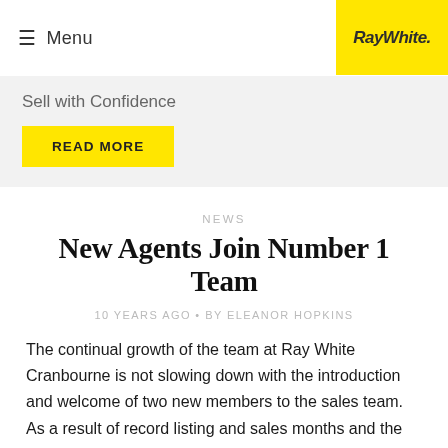≡ Menu
[Figure (logo): RayWhite logo in yellow box]
Sell with Confidence
READ MORE
NEWS
New Agents Join Number 1 Team
10 YEARS AGO • BY ELEANOR HOPKINS
The continual growth of the team at Ray White Cranbourne is not slowing down with the introduction and welcome of two new members to the sales team. As a result of record listing and sales months and the desire to maintain the number one position in the